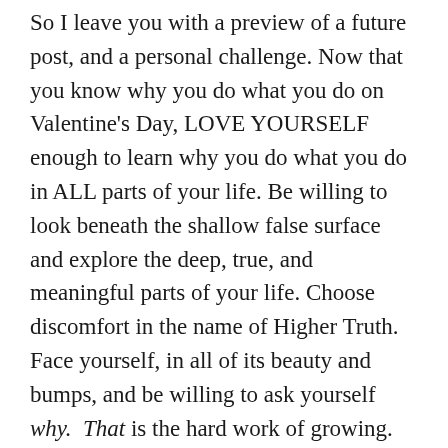So I leave you with a preview of a future post, and a personal challenge. Now that you know why you do what you do on Valentine's Day, LOVE YOURSELF enough to learn why you do what you do in ALL parts of your life. Be willing to look beneath the shallow false surface and explore the deep, true, and meaningful parts of your life. Choose discomfort in the name of Higher Truth.  Face yourself, in all of its beauty and bumps, and be willing to ask yourself why.  That is the hard work of growing. That is what will change your world and all of those in it. Choosing the hard road, so that you can find Your Truth.  Being willing to see, fix, and love yourself – because only then can you fully and deeply love others.